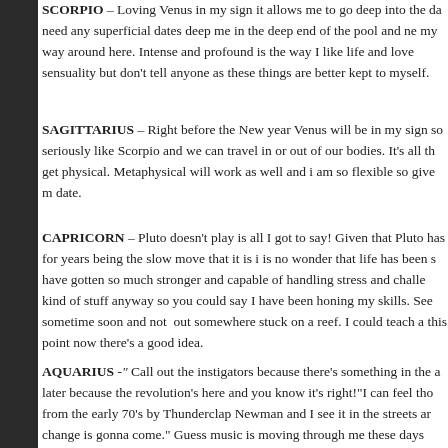SCORPIO – Loving Venus in my sign it allows me to go deep into the da need any superficial dates deep me in the deep end of the pool and ne my way around here. Intense and profound is the way I like life and love sensuality but don't tell anyone as these things are better kept to myself.
SAGITTARIUS – Right before the New year Venus will be in my sign so seriously like Scorpio and we can travel in or out of our bodies. It's all th get physical. Metaphysical will work as well and i am so flexible so give m date.
CAPRICORN – Pluto doesn't play is all I got to say! Given that Pluto has for years being the slow move that it is i is no wonder that life has been s have gotten so much stronger and capable of handling stress and challe kind of stuff anyway so you could say I have been honing my skills. See sometime soon and not out somewhere stuck on a reef. I could teach a this point now there's a good idea.
AQUARIUS -" Call out the instigators because there's something in the a later because the revolution's here and you know it's right!"I can feel tho from the early 70's by Thunderclap Newman and I see it in the streets ar change is gonna come." Guess music is moving through me these days best for me to assimilate the shifts and downloads. We Aquarians feel th
PISCES –